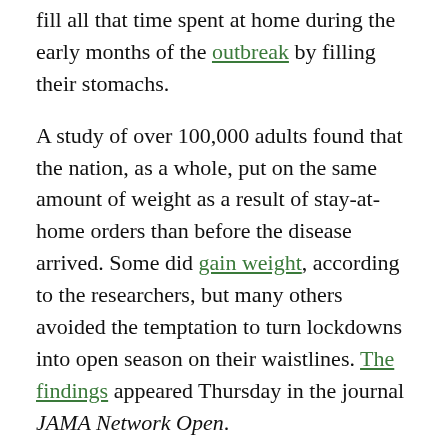fill all that time spent at home during the early months of the outbreak by filling their stomachs.
A study of over 100,000 adults found that the nation, as a whole, put on the same amount of weight as a result of stay-at-home orders than before the disease arrived. Some did gain weight, according to the researchers, but many others avoided the temptation to turn lockdowns into open season on their waistlines. The findings appeared Thursday in the journal JAMA Network Open.
"While many feel that the COVID stay-at-home orders led to large weight gains, our study found no evidence to support this concern," says Rena R. Wing, PhD, director of the Weight Control and Diabetes Research Center at the Miriam Hospital, in Providence, RI, who led the new study.